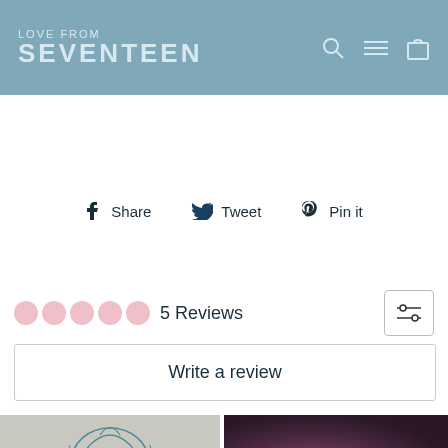LOVE FROM SEVENTEEN
Share  Tweet  Pin it
5 Reviews
Write a review
[Figure (photo): Two photos side by side: left shows a hand holding a paper with a blue floral line drawing; right shows a dark purple/maroon gradient background.]